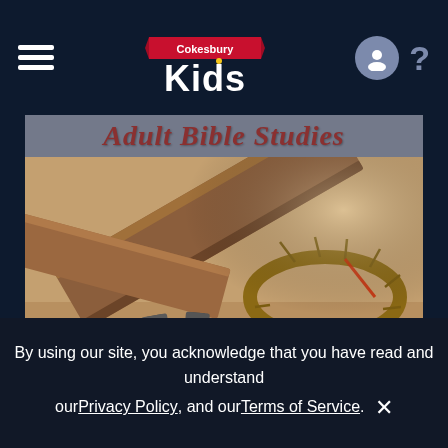Cokesbury Kids — navigation bar with hamburger menu, logo, user icon, and help icon
Adult Bible Studies
[Figure (photo): Close-up photograph of wooden cross beams, a crown of thorns, and iron nails on sandy ground — Easter/Passion imagery used for Adult Bible Studies promotional banner]
By using our site, you acknowledge that you have read and understand our Privacy Policy, and our Terms of Service. ✕